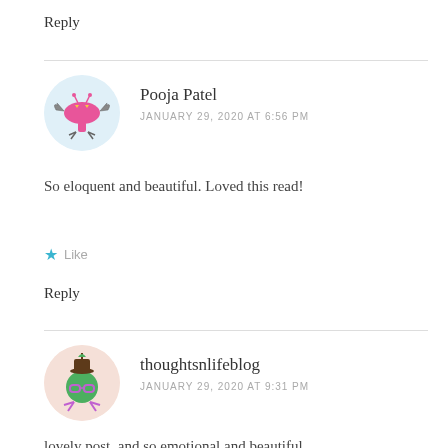Reply
[Figure (illustration): Avatar of Pooja Patel: pink mushroom-like cartoon creature with bat wings and small yellow eyes on a light blue circular background]
Pooja Patel
JANUARY 29, 2020 AT 6:56 PM
So eloquent and beautiful. Loved this read!
Like
Reply
[Figure (illustration): Avatar of thoughtsnlifeblog: green round cartoon creature wearing a hat and glasses with pink legs on a light pink circular background]
thoughtsnlifeblog
JANUARY 29, 2020 AT 9:31 PM
lovely post, and so emotional and beautiful.